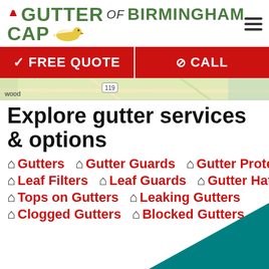[Figure (logo): Gutter Cap of Birmingham logo with bird and hat graphic]
FREE QUOTE | CALL
[Figure (map): Street map snippet showing road 119 and partial label 'wood']
Explore gutter services & options
Gutters
Gutter Guards
Gutter Protection
Leaf Filters
Leaf Guards
Gutter Hats
Tops on Gutters
Leaking Gutters
Clogged Gutters
Blocked Gutters